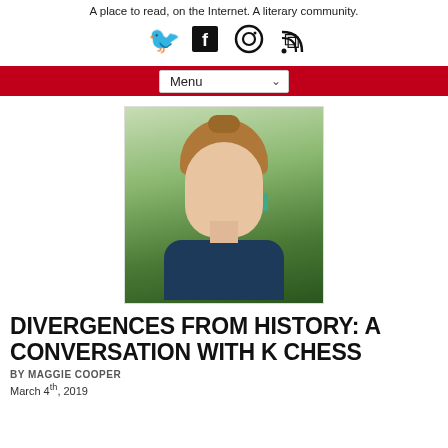A place to read, on the Internet. A literary community.
[Figure (other): Social media icons: Twitter bird, Facebook f, Instagram camera, RSS feed icon]
[Figure (other): Navigation menu bar (red background) with a dropdown 'Menu' selector]
[Figure (photo): Portrait photo of a young woman with light brown hair pulled back, wearing teal earrings and a dark blue top, photographed outdoors with green bokeh background]
DIVERGENCES FROM HISTORY: A CONVERSATION WITH K CHESS
BY MAGGIE COOPER
March 4th, 2019